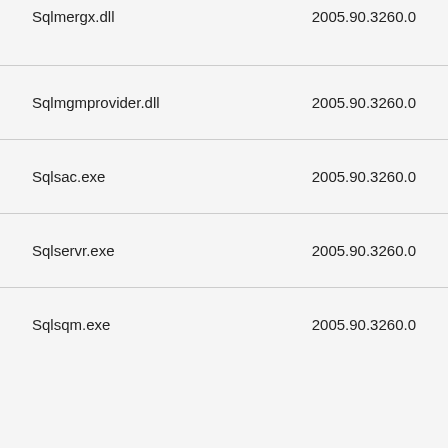| File | Version |
| --- | --- |
| Sqlmergx.dll | 2005.90.3260.0 |
| Sqlmgmprovider.dll | 2005.90.3260.0 |
| Sqlsac.exe | 2005.90.3260.0 |
| Sqlservr.exe | 2005.90.3260.0 |
| Sqlsqm.exe | 2005.90.3260.0 |